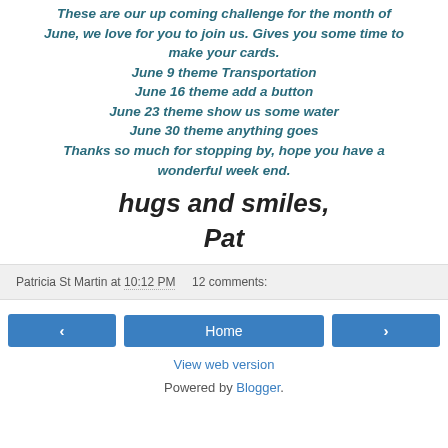These are our up coming challenge for the month of June, we love for you to join us. Gives you some time to make your cards. June 9 theme Transportation June 16 theme add a button June 23 theme show us some water June 30 theme anything goes Thanks so much for stopping by, hope you have a wonderful week end.
hugs and smiles, Pat
Patricia St Martin at 10:12 PM   12 comments:
Home
View web version
Powered by Blogger.